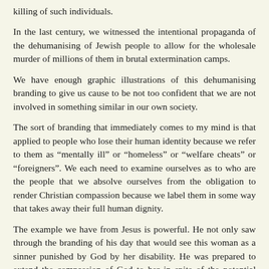killing of such individuals.
In the last century, we witnessed the intentional propaganda of the dehumanising of Jewish people to allow for the wholesale murder of millions of them in brutal extermination camps.
We have enough graphic illustrations of this dehumanising branding to give us cause to be not too confident that we are not involved in something similar in our own society.
The sort of branding that immediately comes to my mind is that applied to people who lose their human identity because we refer to them as “mentally ill” or “homeless” or “welfare cheats” or “foreigners”. We each need to examine ourselves as to who are the people that we absolve ourselves from the obligation to render Christian compassion because we label them in some way that takes away their full human dignity.
The example we have from Jesus is powerful. He not only saw through the branding of his day that would see this woman as a sinner punished by God by her disability. He was prepared to extend the compassion of God to her in spite of the potential condemnation he would receive because it could be seen by some as a breaking of the Sabbath. In fact, in his